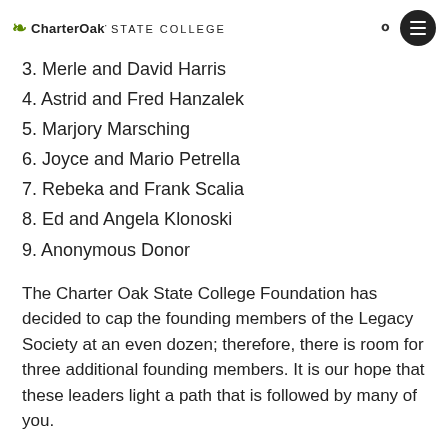CharterOak STATE COLLEGE
3. Merle and David Harris
4. Astrid and Fred Hanzalek
5. Marjory Marsching
6. Joyce and Mario Petrella
7. Rebeka and Frank Scalia
8. Ed and Angela Klonoski
9. Anonymous Donor
The Charter Oak State College Foundation has decided to cap the founding members of the Legacy Society at an even dozen; therefore, there is room for three additional founding members. It is our hope that these leaders light a path that is followed by many of you.
Please contact Carol Hall at 860-515-3889 or chall@charteroak.edu for information on becoming